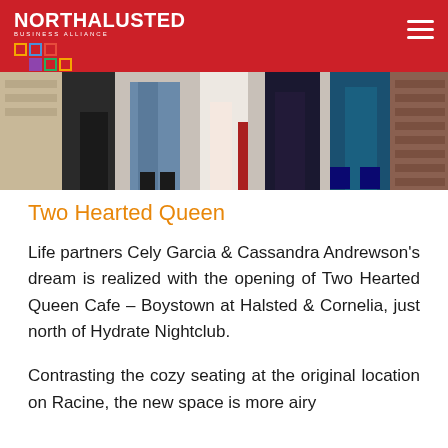NORTHALSTED BUSINESS ALLIANCE
[Figure (photo): Cropped photo showing lower bodies/legs of several people standing together, wearing jeans and various colored clothing]
Two Hearted Queen
Life partners Cely Garcia & Cassandra Andrewson's dream is realized with the opening of Two Hearted Queen Cafe – Boystown at Halsted & Cornelia, just north of Hydrate Nightclub.
Contrasting the cozy seating at the original location on Racine, the new space is more airy